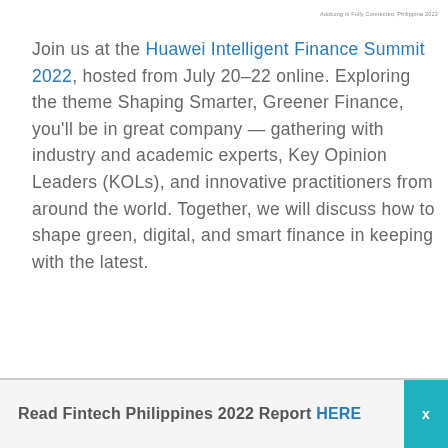Adobong is Fully Connected, Philippine 2022
Join us at the Huawei Intelligent Finance Summit 2022, hosted from July 20–22 online. Exploring the theme Shaping Smarter, Greener Finance, you'll be in great company — gathering with industry and academic experts, Key Opinion Leaders (KOLs), and innovative practitioners from around the world. Together, we will discuss how to shape green, digital, and smart finance in keeping with the latest.
Read Fintech Philippines 2022 Report HERE